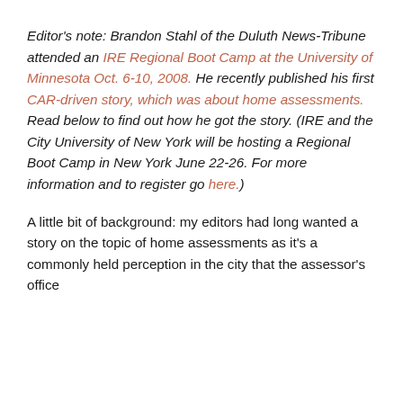Editor's note: Brandon Stahl of the Duluth News-Tribune attended an IRE Regional Boot Camp at the University of Minnesota Oct. 6-10, 2008. He recently published his first CAR-driven story, which was about home assessments. Read below to find out how he got the story. (IRE and the City University of New York will be hosting a Regional Boot Camp in New York June 22-26. For more information and to register go here.)
A little bit of background: my editors had long wanted a story on the topic of home assessments as it's a commonly held perception in the city that the assessor's office